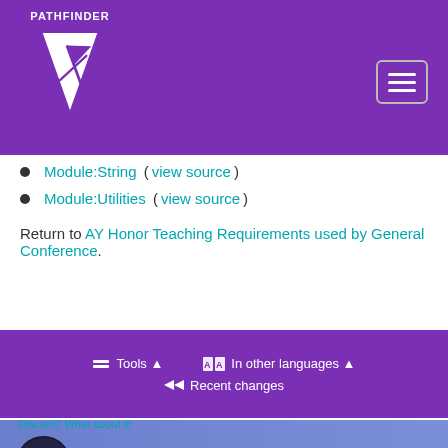PATHFINDER
Module:String (view source)
Module:Utilities (view source)
Return to AY Honor Teaching Requirements used by General Conference.
[Figure (screenshot): Purple toolbar with Tools, In other languages, and Recent changes buttons]
[Figure (screenshot): PathfindersOnline Discord banner showing 36 ONLINE and Discord logo with greater-than arrow]
Discord? What about it!